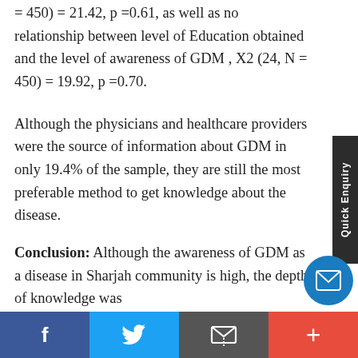= 450) = 21.42, p =0.61, as well as no relationship between level of Education obtained and the level of awareness of GDM , X2 (24, N = 450) = 19.92, p =0.70.
Although the physicians and healthcare providers were the source of information about GDM in only 19.4% of the sample, they are still the most preferable method to get knowledge about the disease.
Conclusion: Although the awareness of GDM as a disease in Sharjah community is high, the depth of knowledge was
[Figure (other): Quick Enquiry vertical sidebar tab on right side]
Social share bar: Facebook, Twitter, Message, Plus